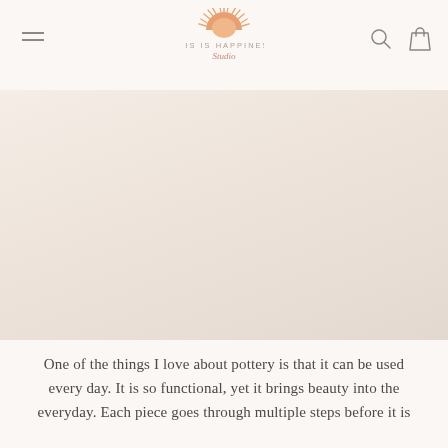THIS IS HAPPINESS Studio
[Figure (photo): Large product/lifestyle image area with warm beige and cream tones, likely showing pottery pieces on a light background]
One of the things I love about pottery is that it can be used every day. It is so functional, yet it brings beauty into the everyday. Each piece goes through multiple steps before it is